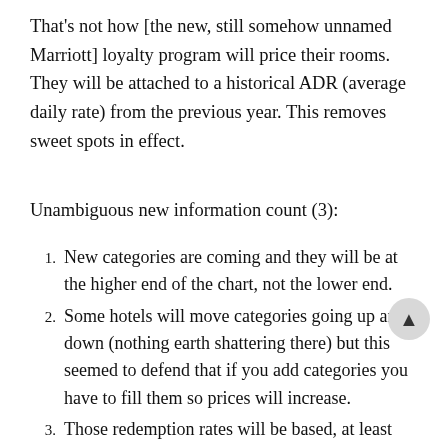That's not how [the new, still somehow unnamed Marriott] loyalty program will price their rooms. They will be attached to a historical ADR (average daily rate) from the previous year. This removes sweet spots in effect.
Unambiguous new information count (3):
New categories are coming and they will be at the higher end of the chart, not the lower end.
Some hotels will move categories going up and down (nothing earth shattering there) but this seemed to defend that if you add categories you have to fill them so prices will increase.
Those redemption rates will be based, at least strongly correlated (I presume in price buckets) with the previous year's ADR.